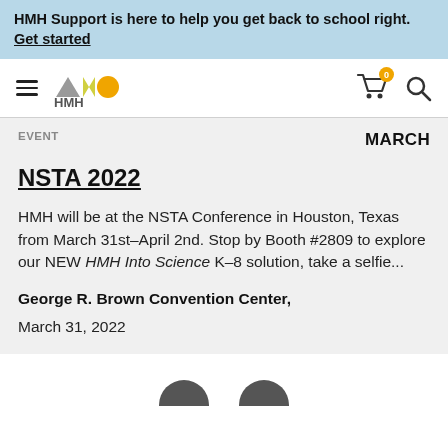HMH Support is here to help you get back to school right. Get started
[Figure (logo): HMH logo with geometric shapes (triangle, checkmark, circle) and navigation bar with hamburger menu, cart with 0 items badge, and search icon]
EVENT
MARCH
NSTA 2022
HMH will be at the NSTA Conference in Houston, Texas from March 31st–April 2nd. Stop by Booth #2809 to explore our NEW HMH Into Science K–8 solution, take a selfie...
George R. Brown Convention Center,
March 31, 2022